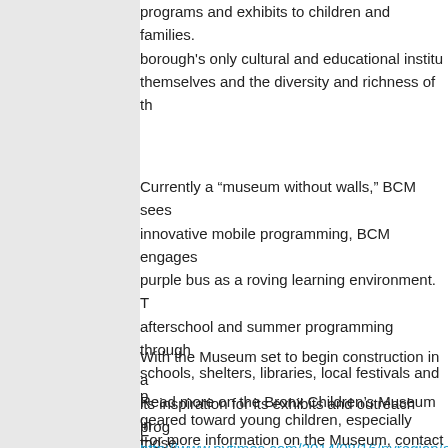programs and exhibits to children and families. As the borough's only cultural and educational institu... themselves and the diversity and richness of th...
Currently a “museum without walls,” BCM sees innovative mobile programming, BCM engages purple bus as a roving learning environment. T afterschool and summer programming through schools, shelters, libraries, local festivals and p geared toward young children, especially those normally visit, a museum.
With the Museum set to begin construction in a its inspiration for its exhibits and outreach prog
Read more on the Bronx Children’s Museum in http://www.nytimes.com/2014/08/16/nyregion/a park-its-purple-bus.html?emc=eta1&_r=1
For more information on the Museum, contact